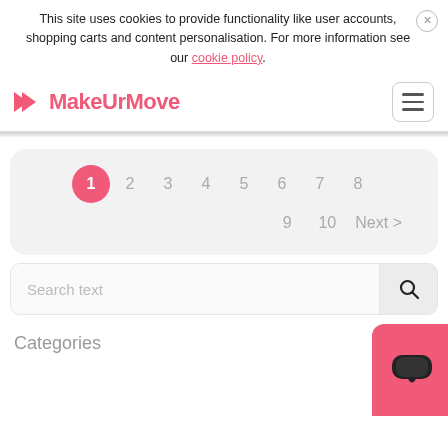This site uses cookies to provide functionality like user accounts, shopping carts and content personalisation. For more information see our cookie policy.
[Figure (screenshot): MakeUrMove website navigation bar with pink logo and hamburger menu icon]
[Figure (infographic): Pagination control showing pages 1 through 10 with Next button, page 1 highlighted in pink circle]
[Figure (screenshot): Search text input box with magnifying glass icon button]
Categories